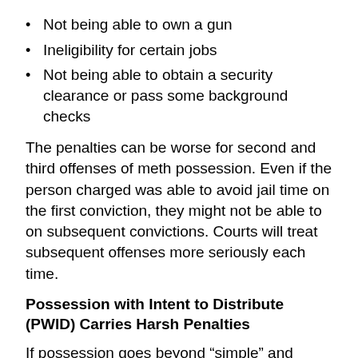Not being able to own a gun
Ineligibility for certain jobs
Not being able to obtain a security clearance or pass some background checks
The penalties can be worse for second and third offenses of meth possession. Even if the person charged was able to avoid jail time on the first conviction, they might not be able to on subsequent convictions. Courts will treat subsequent offenses more seriously each time.
Possession with Intent to Distribute (PWID) Carries Harsh Penalties
If possession goes beyond “simple” and